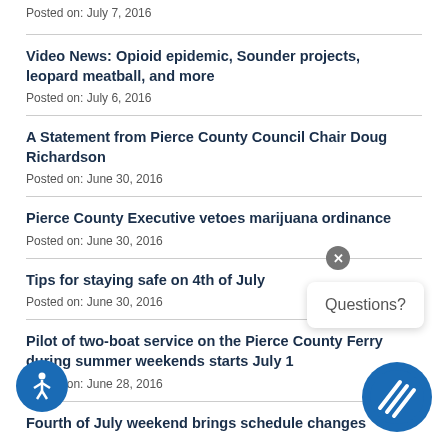Posted on: July 7, 2016
Video News: Opioid epidemic, Sounder projects, leopard meatball, and more
Posted on: July 6, 2016
A Statement from Pierce County Council Chair Doug Richardson
Posted on: June 30, 2016
Pierce County Executive vetoes marijuana ordinance
Posted on: June 30, 2016
Tips for staying safe on 4th of July
Posted on: June 30, 2016
Pilot of two-boat service on the Pierce County Ferry during summer weekends starts July 1
Posted on: June 28, 2016
Fourth of July weekend brings schedule changes